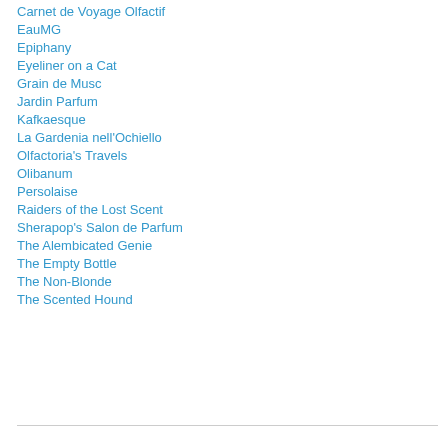Carnet de Voyage Olfactif
EauMG
Epiphany
Eyeliner on a Cat
Grain de Musc
Jardin Parfum
Kafkaesque
La Gardenia nell'Ochiello
Olfactoria's Travels
Olibanum
Persolaise
Raiders of the Lost Scent
Sherapop's Salon de Parfum
The Alembicated Genie
The Empty Bottle
The Non-Blonde
The Scented Hound